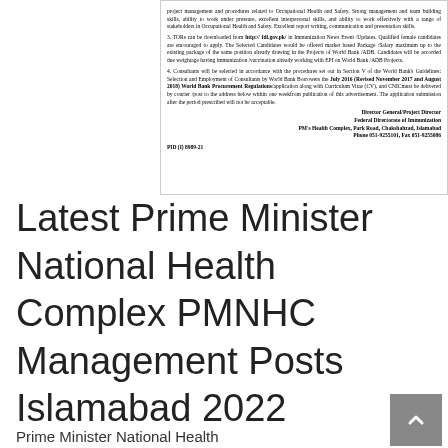[Figure (other): Scanned document excerpt from Federal Directorate of Immunization notice about consultant selection, TORs download, World Bank procurement regulations, and contact details for Director General/Project Director at PM's Health Complex, Park Road, Chakshahzad, Islamabad.]
Latest Prime Minister National Health Complex PMNHC Management Posts Islamabad 2022
Prime Minister National Health